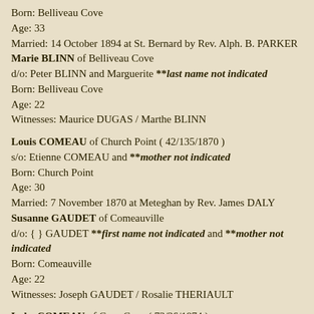Born: Belliveau Cove
Age: 33
Married: 14 October 1894 at St. Bernard by Rev. Alph. B. PARKER
Marie BLINN of Belliveau Cove
d/o: Peter BLINN and Marguerite **last name not indicated
Born: Belliveau Cove
Age: 22
Witnesses: Maurice DUGAS / Marthe BLINN
Louis COMEAU of Church Point ( 42/135/1870 )
s/o: Etienne COMEAU and **mother not indicated
Born: Church Point
Age: 30
Married: 7 November 1870 at Meteghan by Rev. James DALY
Susanne GAUDET of Comeauville
d/o: { } GAUDET **first name not indicated and **mother not indicated
Born: Comeauville
Age: 22
Witnesses: Joseph GAUDET / Rosalie THERIAULT
Luke COMEAU of Cape Cove ( 73/36/1874 )
s/o: {Firmin} COMEAU and Mary **last name not indicated
Born: Cape Cove
Age: 35